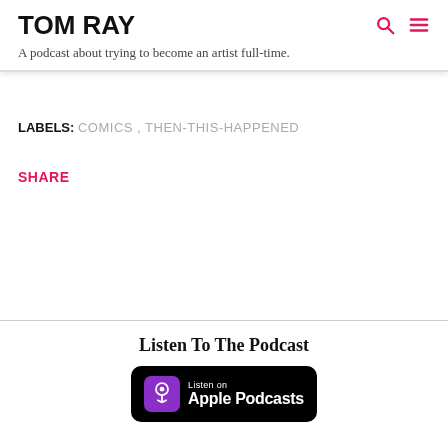TOM RAY
A podcast about trying to become an artist full-time.
LABELS: COMICS , THEN-THIS-HAPPENED
SHARE
Listen To The Podcast
[Figure (logo): Listen on Apple Podcasts badge with purple podcast icon on black rounded rectangle background]